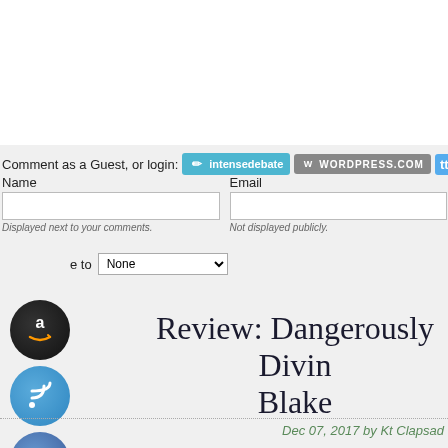Comment as a Guest, or login: [intensedebate] [WORDPRESS.COM] [tu...]
Name
Email
Displayed next to your comments.
Not displayed publicly.
Subscribe to None
[Figure (logo): Amazon icon - black circle with Amazon smile logo]
[Figure (logo): RSS feed icon - blue circle with wifi/rss symbol]
[Figure (logo): Facebook icon - blue circle with lowercase f]
[Figure (logo): Goodreads icon - beige circle with 'gr' text]
[Figure (logo): Email icon - beige circle with envelope symbol]
Review: Dangerously Divin Blake
Dec 07, 2017 by Kt Clapsad